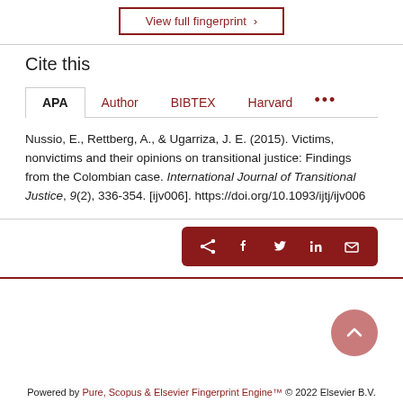View full fingerprint ›
Cite this
APA | Author | BIBTEX | Harvard | ...
Nussio, E., Rettberg, A., & Ugarriza, J. E. (2015). Victims, nonvictims and their opinions on transitional justice: Findings from the Colombian case. International Journal of Transitional Justice, 9(2), 336-354. [ijv006]. https://doi.org/10.1093/ijtj/ijv006
[Figure (infographic): Social share bar with icons for share, Facebook, Twitter, LinkedIn, and email on a dark red background]
Powered by Pure, Scopus & Elsevier Fingerprint Engine™ © 2022 Elsevier B.V.